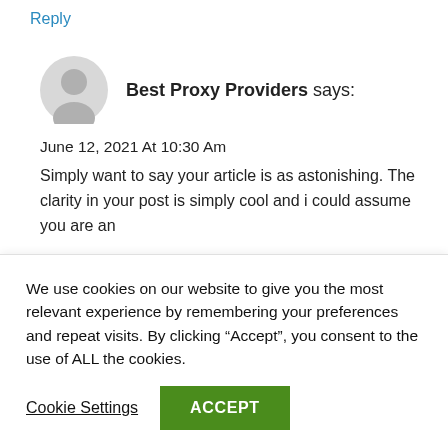Reply
Best Proxy Providers says:
June 12, 2021 At 10:30 Am
Simply want to say your article is as astonishing. The clarity in your post is simply cool and i could assume you are an
We use cookies on our website to give you the most relevant experience by remembering your preferences and repeat visits. By clicking "Accept", you consent to the use of ALL the cookies.
Cookie Settings
ACCEPT